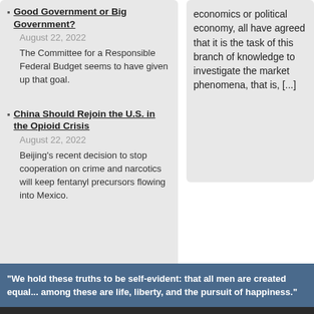Good Government or Big Government? August 22, 2022 — The Committee for a Responsible Federal Budget seems to have given up that goal.
China Should Rejoin the U.S. in the Opioid Crisis August 22, 2022 — Beijing's recent decision to stop cooperation on crime and narcotics will keep fentanyl precursors flowing into Mexico.
economics or political economy, all have agreed that it is the task of this branch of knowledge to investigate the market phenomena, that is, [...]
"We hold these truths to be self-evident: that all men are created equal... among these are life, liberty, and the pursuit of happiness."